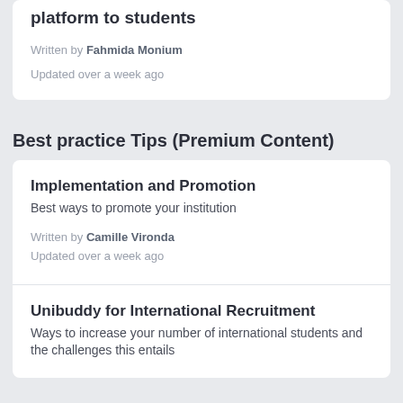Promoting the use of the Unibuddy platform to students
Written by Fahmida Monium
Updated over a week ago
Best practice Tips (Premium Content)
Implementation and Promotion
Best ways to promote your institution
Written by Camille Vironda
Updated over a week ago
Unibuddy for International Recruitment
Ways to increase your number of international students and the challenges this entails